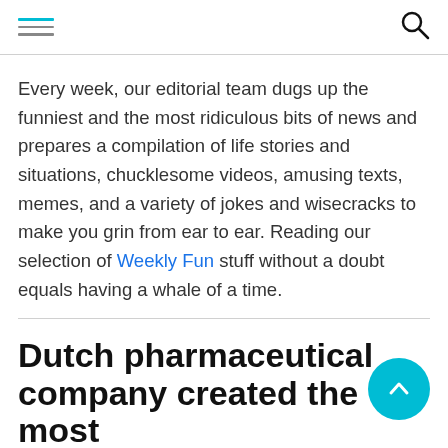[hamburger menu icon] [search icon]
Every week, our editorial team dugs up the funniest and the most ridiculous bits of news and prepares a compilation of life stories and situations, chucklesome videos, amusing texts, memes, and a variety of jokes and wisecracks to make you grin from ear to ear. Reading our selection of Weekly Fun stuff without a doubt equals having a whale of a time.
Dutch pharmaceutical company created the most moving Christmas ad